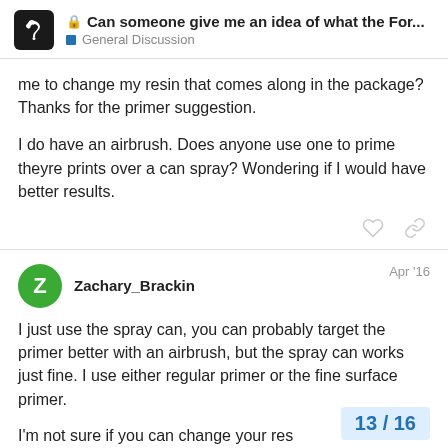🔒 Can someone give me an idea of what the For... — General Discussion
me to change my resin that comes along in the package? Thanks for the primer suggestion.

I do have an airbrush. Does anyone use one to prime theyre prints over a can spray? Wondering if I would have better results.
Zachary_Brackin — Apr '16

I just use the spray can, you can probably target the primer better with an airbrush, but the spray can works just fine. I use either regular primer or the fine surface primer.

I'm not sure if you can change your res...
13 / 16